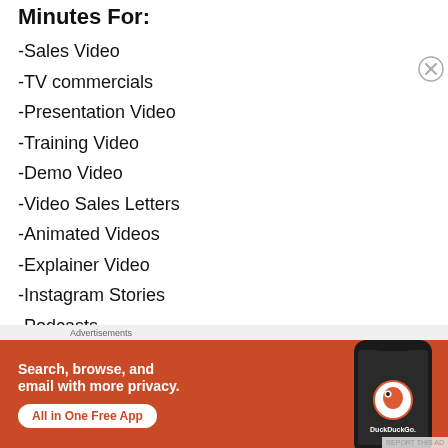Minutes For:
-Sales Video
-TV commercials
-Presentation Video
-Training Video
-Demo Video
-Video Sales Letters
-Animated Videos
-Explainer Video
-Instagram Stories
-Podcasts
[Figure (illustration): DuckDuckGo advertisement banner with orange background showing a smartphone and text: Search, browse, and email with more privacy. All in One Free App. DuckDuckGo.]